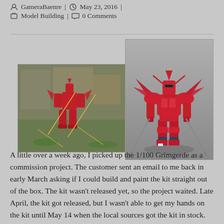GameraBaenre | May 23, 2016 | Model Building | 0 Comments
[Figure (photo): Left photo: a red Gundam model (Grimgerde) posed on a table at a build gathering, 1/100 scale. Right photo: official/reference image of the same red Grimgerde 1/100 model on a grey background.]
A little over a week ago, I picked up the 1/100 Grimgerde as a commission project. The customer sent an email to me back in early March asking if I could build and paint the kit straight out of the box. The kit wasn't released yet, so the project waited. Late April, the kit got released, but I wasn't able to get my hands on the kit until May 14 when the local sources got the kit in stock. We had a build gathering, so it was the perfect day to start cutting, sanding, and snapping the kit together. I